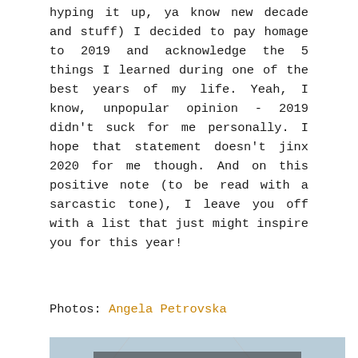hyping it up, ya know new decade and stuff) I decided to pay homage to 2019 and acknowledge the 5 things I learned during one of the best years of my life. Yeah, I know, unpopular opinion - 2019 didn't suck for me personally. I hope that statement doesn't jinx 2020 for me though. And on this positive note (to be read with a sarcastic tone), I leave you off with a list that just might inspire you for this year!
Photos: Angela Petrovska
[Figure (photo): Portrait photo of a woman with dark hair and red lipstick, photographed against a light blue/grey background. The image shows her face tilted slightly, with dramatic lighting creating shadow across part of her face. A delicate chain necklace is visible.]